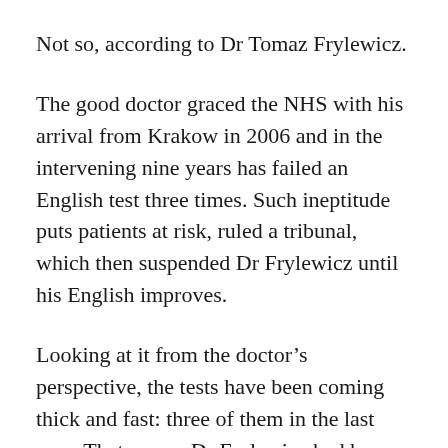Not so, according to Dr Tomaz Frylewicz.
The good doctor graced the NHS with his arrival from Krakow in 2006 and in the intervening nine years has failed an English test three times. Such ineptitude puts patients at risk, ruled a tribunal, which then suspended Dr Frylewicz until his English improves.
Looking at it from the doctor’s perspective, the tests have been coming thick and fast: three of them in the last year. That means Dr Frylewicz had been working in the NHS for eight years without ever being asked to sit such an exam.
Considering that his colleagues testify that the...